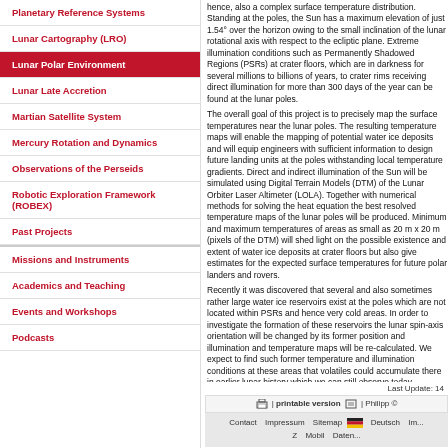Planetary Reference Systems
Lunar Cartography (LRO)
Lunar Polar Environment
Lunar Late Accretion
Martian Satellite System
Mercury Rotation and Dynamics
Observations of the Perseids
Robotic Exploration Framework (ROBEX)
Past Projects
Missions and Instruments
Academics and Teaching
Events and Workshops
Podcasts
hence, also a complex surface temperature distribution. Standing at the poles, the Sun has a maximum elevation of just 1.54° over the horizon owing to the small inclination of the lunar rotational axis with respect to the ecliptic plane. Extreme illumination conditions such as Permanently Shadowed Regions (PSRs) at crater floors, which are in darkness for several millions to billions of years, to crater rims receiving direct illumination for more than 300 days of the year can be found at the lunar poles. The overall goal of this project is to precisely map the surface temperatures near the lunar poles. The resulting temperature maps will enable the mapping of potential water ice deposits and will equip engineers with sufficient information to design future landing units at the poles withstanding local temperature gradients. Direct and indirect illumination of the Sun will be simulated using Digital Terrain Models (DTM) of the Lunar Orbiter Laser Altimeter (LOLA). Together with numerical methods for solving the heat equation the best resolved temperature maps of the lunar poles will be produced. Minimum and maximum temperatures of areas as small as 20 m x 20 m (pixels of the DTM) will shed light on the possible existence and extent of water ice deposits at crater floors but also give estimates for the expected surface temperatures for future polar landers and rovers. Recently it was discovered that several and also sometimes rather large water ice reservoirs exist at the poles which are not located within PSRs and hence very cold areas. In order to investigate the formation of these reservoirs the lunar spin-axis orientation will be changed by its former position and illumination and temperature maps will be re-calculated. We expect to find such former temperature and illumination conditions at these areas that volatiles could accumulate there in earlier lunar history which we can still observe today.
Last Update: 14...
printable version | Philipp ...
Contact  Impressum  Sitemap  Deutsch  Im... Z  Mobil  Daten...